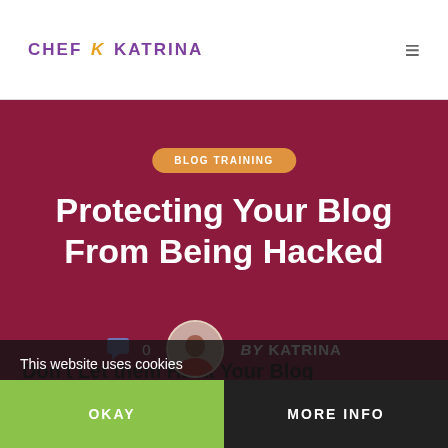CHEF K KATRINA
BLOG TRAINING
Protecting Your Blog From Being Hacked
0  BY KATRINA
Don't Let them Hack Your Blog
This website uses cookies
OKAY
MORE INFO